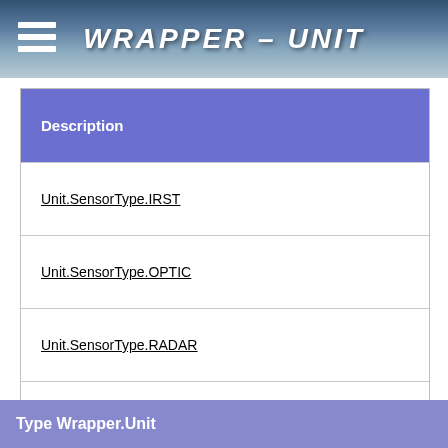WRAPPER - UNIT
| Description |
| --- |
| Unit.SensorType.IRST |
| Unit.SensorType.OPTIC |
| Unit.SensorType.RADAR |
| Unit.SensorType.RWR |
Type Wrapper.Unit